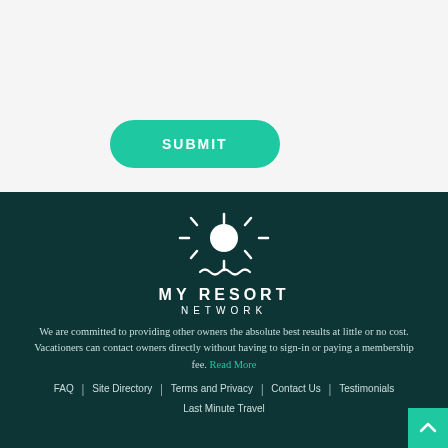[Figure (other): A teal/green rounded rectangle SUBMIT button]
[Figure (logo): My Resort Network logo: white sun icon above text MY RESORT NETWORK with wave decoration, on dark teal background]
We are committed to providing other owners the absolute best results at little or no cost. Vacationers can contact owners directly without having to sign-in or paying a membership fee. Read More
FAQ | Site Directory | Terms and Privacy | Contact Us | Testimonials | Last Minute Travel